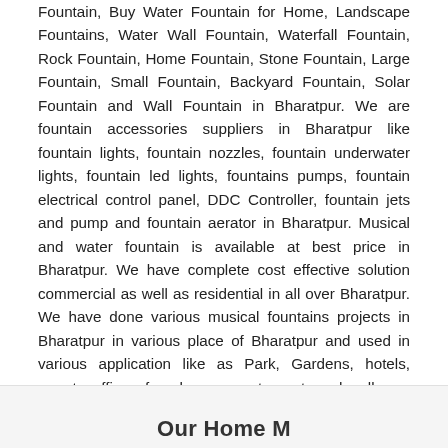Fountain, Buy Water Fountain for Home, Landscape Fountains, Water Wall Fountain, Waterfall Fountain, Rock Fountain, Home Fountain, Stone Fountain, Large Fountain, Small Fountain, Backyard Fountain, Solar Fountain and Wall Fountain in Bharatpur. We are fountain accessories suppliers in Bharatpur like fountain lights, fountain nozzles, fountain underwater lights, fountain led lights, fountains pumps, fountain electrical control panel, DDC Controller, fountain jets and pump and fountain aerator in Bharatpur. Musical and water fountain is available at best price in Bharatpur. We have complete cost effective solution commercial as well as residential in all over Bharatpur. We have done various musical fountains projects in Bharatpur in various place of Bharatpur and used in various application like as Park, Gardens, hotels, resorts, offices, farm houses, restaurants and malls.
Our Home M...